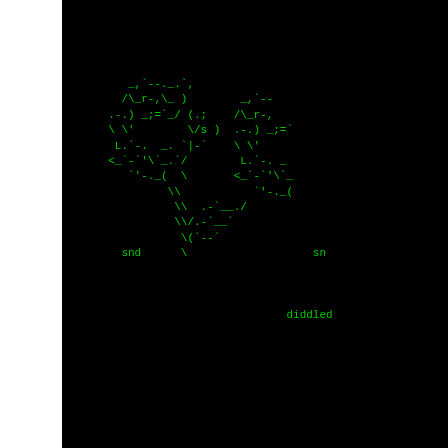[Figure (illustration): ASCII art on black terminal background showing two mirrored figures made of punctuation characters resembling a person/robot shape, with 'snd' labels and 'diddled' text at bottom right. Left white strip approximately 62px wide.]